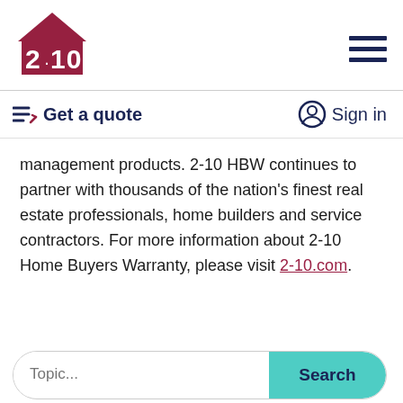[Figure (logo): 2-10 Home Buyers Warranty logo — house silhouette in dark red/maroon with '2·10' text in white inside]
Get a quote   Sign in
management products. 2-10 HBW continues to partner with thousands of the nation's finest real estate professionals, home builders and service contractors. For more information about 2-10 Home Buyers Warranty, please visit 2-10.com.